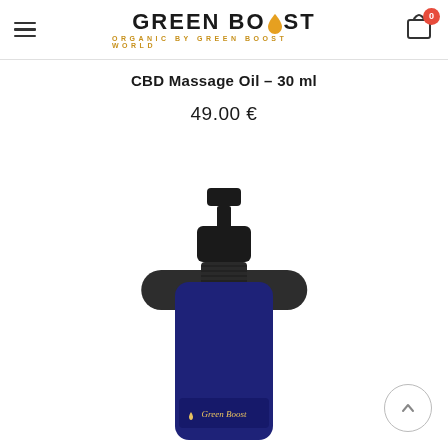Green Boost — Organic by Green Boost World
CBD Massage Oil – 30 ml
49.00 €
Add to basket
[Figure (photo): A dark navy blue 30ml spray pump bottle with a black pump dispenser. The label reads 'Green Boost' with a small gold droplet icon. The bottle is photographed on a white background.]